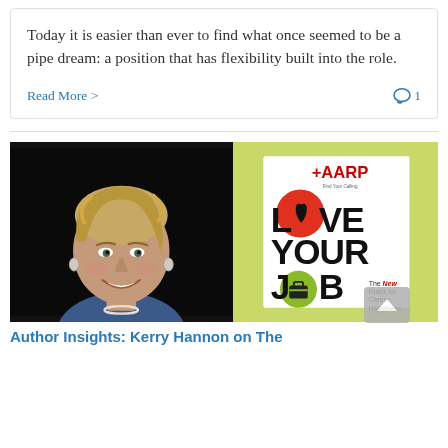Today it is easier than ever to find what once seemed to be a pipe dream: a position that has flexibility built into the role.
Read More >
1
[Figure (photo): Portrait photo of a woman with short blonde hair, smiling, wearing a blue top and pearl necklace, against a dark/black background.]
[Figure (illustration): Book cover for 'Love Your Job: The New Rules for Career Happiness' published by AARP, with bold black text and colorful circular graphics on a green background.]
Author Insights: Kerry Hannon on The